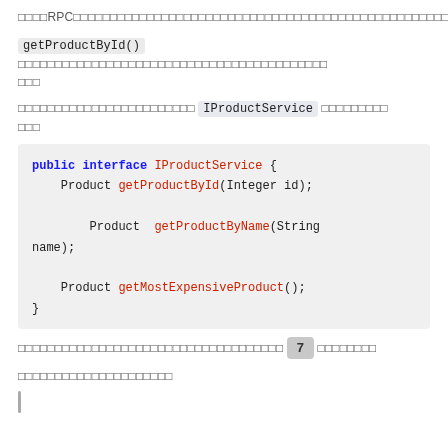□□□□RPC□□□□□□□□□□□□□□□□□□□□□□□□□□□□□□□□□□□□□□□□□□□□
getProductById() □□□□□□□□□□□□□□□□□□□□□□□□□□□□□□□□□□□□□□□□□□ □□□
□□□□□□□□□□□□□□□□□□□□□□□□ IProductService □□□□□□□□□ □□□
public interface IProductService {
    Product getProductById(Integer id);
        Product  getProductByName(String name);
    Product getMostExpensiveProduct();
}
□□□□□□□□□□□□□□□□□□□□□□□□□□□□□□□□□□□□ 7 □□□□□□□□
□□□□□□□□□□□□□□□□□□□□□
│